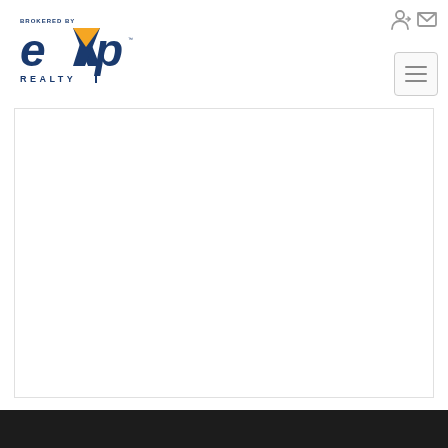[Figure (logo): eXp Realty logo — 'BROKERED BY' text above, large stylized 'eXp' letters in dark blue with an orange triangle accent, 'REALTY' text below in dark blue with letter-spacing]
[Figure (other): Top-right navigation icons: a login/person icon and an envelope/mail icon, both in gray]
[Figure (other): Hamburger menu button (three horizontal lines) in a rounded rectangle border, positioned top-right]
[Figure (other): Large white content area with light gray border, taking up most of the page]
[Figure (other): Dark/black footer bar at the bottom of the page]